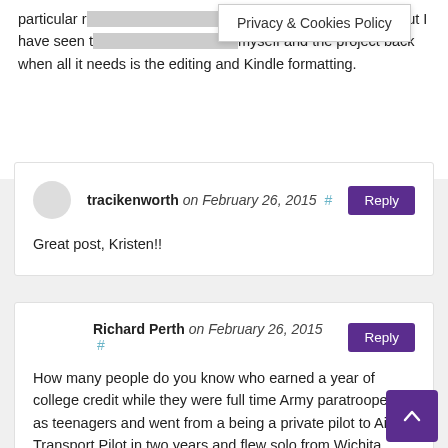particular r[...] I have a thick skin, but I have seen t[...] myself and the project back when all it needs is the editing and Kindle formatting.
Privacy & Cookies Policy
tracikenworth on February 26, 2015 # Reply
Great post, Kristen!!
Richard Perth on February 26, 2015 # Reply
How many people do you know who earned a year of college credit while they were full time Army paratroopers as teenagers and went from a being a private pilot to Airline Transport Pilot in two years and flew solo from Wichita, Kansas across the Atlantic and Pacific Oceans to Africa, Asia and Australia and Europe and flew Lear Jets over four continents and erupting volcanoes and photographed m[...] (dummy) warhead reentries from 20,000 feet at night in the